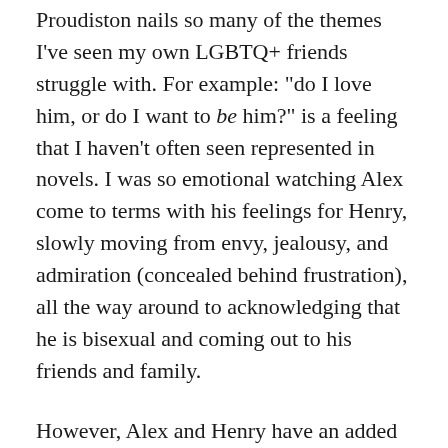Proudiston nails so many of the themes I've seen my own LGBTQ+ friends struggle with. For example: "do I love him, or do I want to be him?" is a feeling that I haven't often seen represented in novels. I was so emotional watching Alex come to terms with his feelings for Henry, slowly moving from envy, jealousy, and admiration (concealed behind frustration), all the way around to acknowledging that he is bisexual and coming out to his friends and family.
However, Alex and Henry have an added layer of complication when it comes to coming out. Alex is the half-Mexican son of the president of the United States. Hi mom, Emma, is currently campaigning for reelection, and coming out could be quite the scandal... particularly when his lover is the Prince of